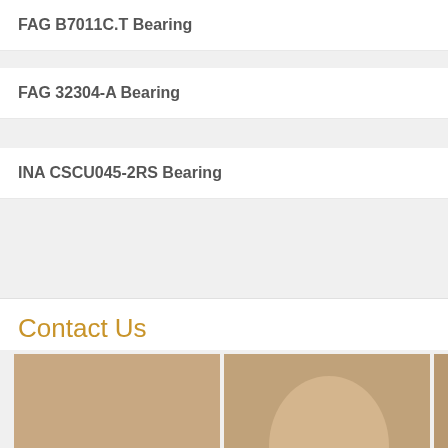FAG B7011C.T Bearing
FAG 32304-A Bearing
INA CSCU045-2RS Bearing
Contact Us
[Figure (photo): Grid of 6 photos showing a smiling woman with a headset, used for a contact us section]
KOYO 6010Z Bearing
[Figure (infographic): Special offer banner with red arc top, large italic Sale text, red DISCOUNT banner, 50% OFF text, and Contact Us speech bubble graphic]
FAG
Onli
* Your Name:
Please enter you